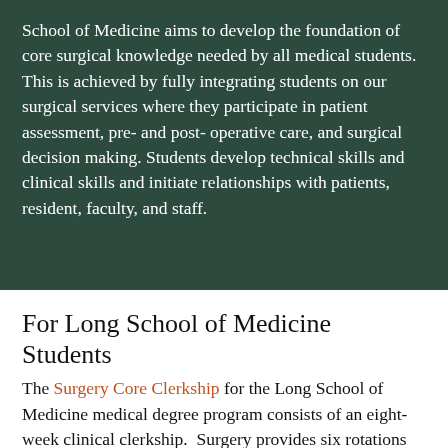School of Medicine aims to develop the foundation of core surgical knowledge needed by all medical students. This is achieved by fully integrating students on our surgical services where they participate in patient assessment, pre- and post- operative care, and surgical decision making. Students develop technical skills and clinical skills and initiate relationships with patients, resident, faculty, and staff.
For Long School of Medicine Students
The Surgery Core Clerkship for the Long School of Medicine medical degree program consists of an eight-week clinical clerkship. Surgery provides six rotations